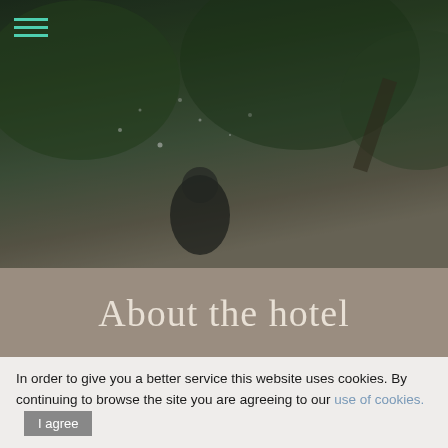[Figure (photo): Hero photo of people playing in water spray outdoors with green trees in background, darkened overlay]
About the hotel
[Figure (photo): Mountain landscape photo with snow-capped peaks, green meadow with flowers, two people sitting, and a globe lamp post. Text overlay reads FOOD & DRINK]
In order to give you a better service this website uses cookies. By continuing to browse the site you are agreeing to our use of cookies.  I agree